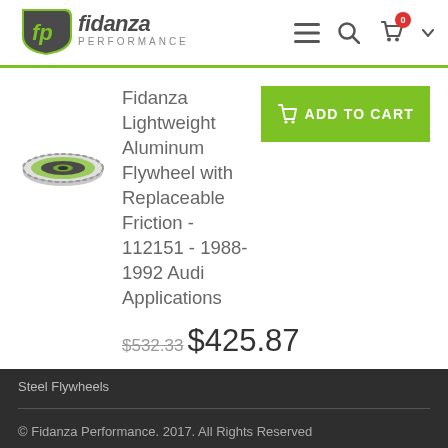Fidanza Performance — navigation header with logo, menu, search, and cart icons
[Figure (logo): Fidanza Performance logo — green and grey shield with 'fp' monogram and 'fidanza PERFORMANCE' text]
[Figure (illustration): Flywheel product thumbnail image — circular flywheel with green and grey coloring]
Fidanza Lightweight Aluminum Flywheel with Replaceable Friction - 112151 - 1988-1992 Audi Applications
$532.33 $425.87
ADD TO CART
Steel Flywheels
© Fidanza Performance. 2017. All Rights Reserved
WORKING DAYS/HOURS
MON - FRI / 9:00AM - 5:00PM